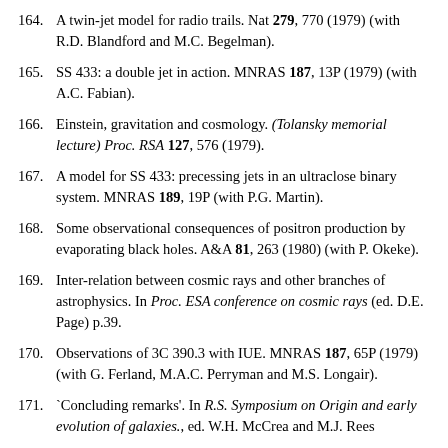164. A twin-jet model for radio trails. Nat 279, 770 (1979) (with R.D. Blandford and M.C. Begelman).
165. SS 433: a double jet in action. MNRAS 187, 13P (1979) (with A.C. Fabian).
166. Einstein, gravitation and cosmology. (Tolansky memorial lecture) Proc. RSA 127, 576 (1979).
167. A model for SS 433: precessing jets in an ultraclose binary system. MNRAS 189, 19P (with P.G. Martin).
168. Some observational consequences of positron production by evaporating black holes. A&A 81, 263 (1980) (with P. Okeke).
169. Inter-relation between cosmic rays and other branches of astrophysics. In Proc. ESA conference on cosmic rays (ed. D.E. Page) p.39.
170. Observations of 3C 390.3 with IUE. MNRAS 187, 65P (1979) (with G. Ferland, M.A.C. Perryman and M.S. Longair).
171. `Concluding remarks'. In R.S. Symposium on Origin and early evolution of galaxies., ed. W.H. McCrea and M.J. Rees